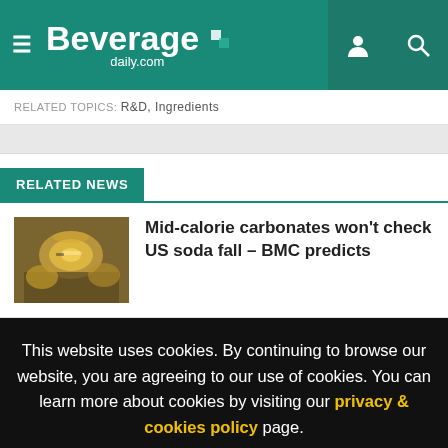Beverage daily.com
RELATED TOPICS: R&D, Ingredients
RELATED NEWS
[Figure (photo): Close-up photo of soda can tops with gold metallic lids]
Mid-calorie carbonates won't check US soda fall – BMC predicts
This website uses cookies. By continuing to browse our website, you are agreeing to our use of cookies. You can learn more about cookies by visiting our privacy & cookies policy page.
I Agree